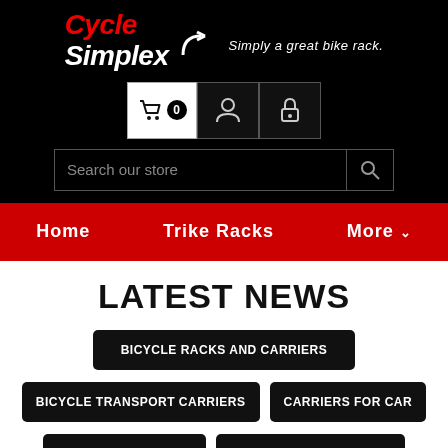[Figure (logo): Cycle Simplex logo with red and white text on black background, with tagline 'Simply a great bike rack.']
[Figure (screenshot): Navigation icon bar with cart (0), user, and lock icons on black background]
[Figure (screenshot): Search bar with placeholder 'Search our store' and magnifying glass icon]
Home   Trike Racks   More
LATEST NEWS
BICYCLE RACKS AND CARRIERS
BICYCLE TRANSPORT CARRIERS
CARRIERS FOR CAR
RV HITCH BIKE RACK
TRICYCLE BIKE CARRIER